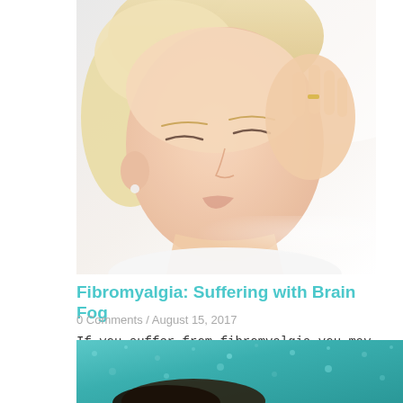[Figure (photo): Close-up photo of a blonde woman with closed eyes pressing her fingers to her temple, appearing to have a headache or brain fog, against a light background]
Fibromyalgia: Suffering with Brain Fog
0 Comments / August 15, 2017
If you suffer from fibromyalgia you may find yourself more concerned...
[Figure (photo): Partial photo showing a teal/turquoise textured background with a person's dark hair visible at the bottom edge]